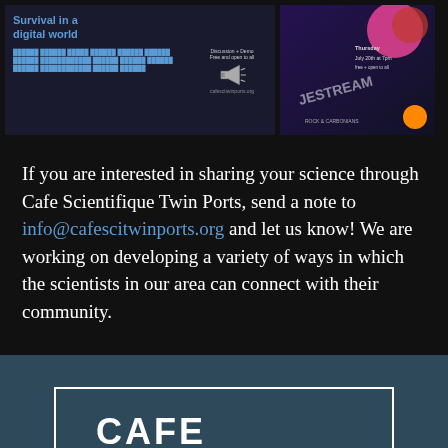[Figure (screenshot): Two event promotional images side by side: left image shows 'Survival in a digital world' event with blue text and a megaphone icon, blue repeated text rows, and website cafescitwinports.org; right image shows a colorful event poster with date Thursday July 20th at 7pm, free and open to all, with decorative elements and orange dot.]
If you are interested in sharing your science through Cafe Scientifique Twin Ports, send a note to info@cafescitwinports.org and let us know! We are working on developing a variety of ways in which the scientists in our area can connect with their community.
CAFE SCIENTISTS